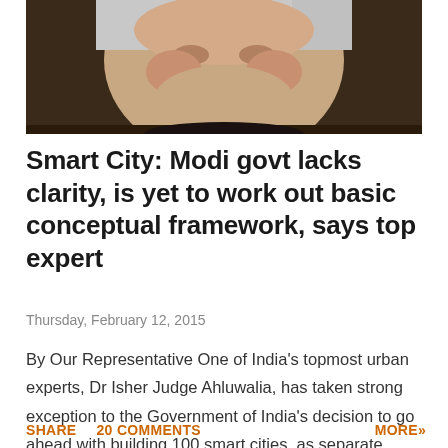[Figure (photo): Close-up photo of an older woman with short grey hair, smiling, wearing earrings and a necklace]
Smart City: Modi govt lacks clarity, is yet to work out basic conceptual framework, says top expert
Thursday, February 12, 2015
By Our Representative One of India's topmost urban experts, Dr Isher Judge Ahluwalia, has taken strong exception to the Government of India's decision to go ahead with building 100 smart cities, as separate greenfield entities, as isolated islan…
SHARE   20 COMMENTS   MORE»